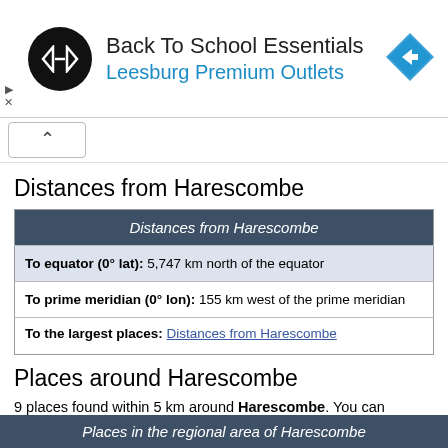[Figure (other): Advertisement banner for Back To School Essentials at Leesburg Premium Outlets, with circular logo, text, and navigation arrow icon]
Distances from Harescombe
| Distances from Harescombe |
| --- |
| To equator (0° lat): 5,747 km north of the equator |
| To prime meridian (0° lon): 155 km west of the prime meridian |
| To the largest places: Distances from Harescombe |
Places around Harescombe
9 places found within 5 km around Harescombe. You can expand the radius of your search: 5 km  10 km  15 km
Places in the regional area of Harescombe